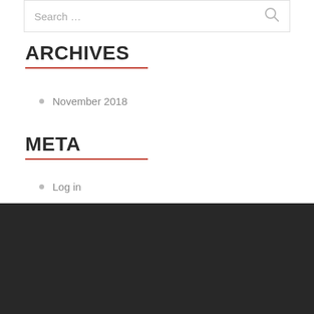Search …
ARCHIVES
November 2018
META
Log in